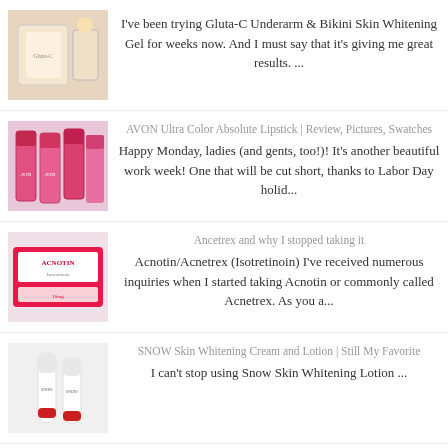[Figure (photo): Product photo - Gluta-C Underarm and Bikini skin product packaging on light background]
I've been trying Gluta-C Underarm & Bikini Skin Whitening Gel for weeks now. And I must say that it's giving me great results. ...
[Figure (photo): Photo of multiple AVON Ultra Color Absolute lipsticks in pink packaging arranged together]
AVON Ultra Color Absolute Lipstick | Review, Pictures, Swatches
Happy Monday, ladies (and gents, too!)! It's another beautiful work week! One that will be cut short, thanks to Labor Day holid...
[Figure (photo): Photo of Acnotin/Acnetrex (Isotretinoin) medication box, pink packaging with ACNOTIN label]
Ancetrex and why I stopped taking it
Acnotin/Acnetrex (Isotretinoin) I've received numerous inquiries when I started taking Acnotin or commonly called Acnetrex. As you a...
[Figure (photo): Photo of SNOW Skin Whitening Cream and Lotion bottles/tubes on light background]
SNOW Skin Whitening Cream and Lotion | Still My Favorite
I can't stop using Snow Skin Whitening Lotion ...